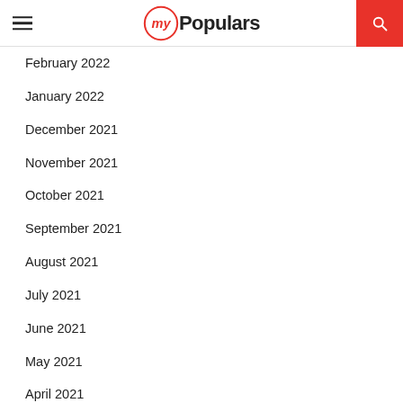My Populars
February 2022
January 2022
December 2021
November 2021
October 2021
September 2021
August 2021
July 2021
June 2021
May 2021
April 2021
March 2021
February 2021
January 2021